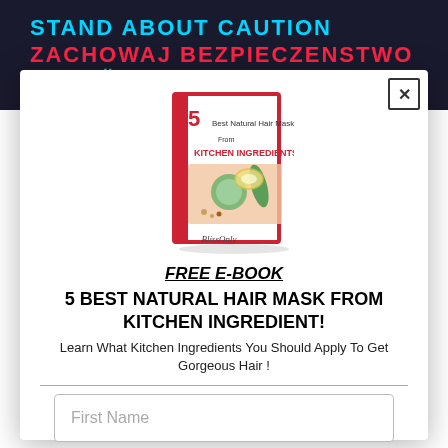STAND ABOUT CAUTION ZACHOWAJ BEZPIECZENSTWO VAR FÖRSIKTIG 안전에 유의하세요
[Figure (illustration): Book cover: '5 Best Natural Hair Mask From KITCHEN INGREDIENTS' with image of natural ingredients on a pink background, by BlissOnly]
FREE E-BOOK
5 BEST NATURAL HAIR MASK FROM KITCHEN INGREDIENT!
Learn What Kitchen Ingredients You Should Apply To Get Gorgeous Hair !
First Name